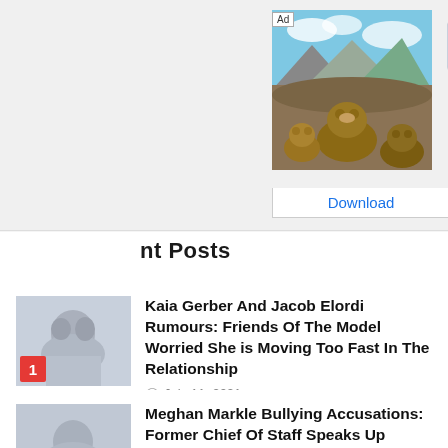[Figure (screenshot): Advertisement banner showing wildlife/animals game with bears, download button, and wolf thumbnail with 'Joi' text]
Recent Posts
Kaia Gerber And Jacob Elordi Rumours: Friends Of The Model Worried She is Moving Too Fast In The Relationship
July 11, 2021
Meghan Markle Bullying Accusations: Former Chief Of Staff Speaks Up About Working With The Duchess Of Sussex
July 11, 2021
Brendan Fraser Latest Update: Actor's Health At Risk? Dramatic Weight Gain Could Be Fatal Suggest Reports
July 11, 2021
Blake Shelton And Gwen Stefani Wedding Update: